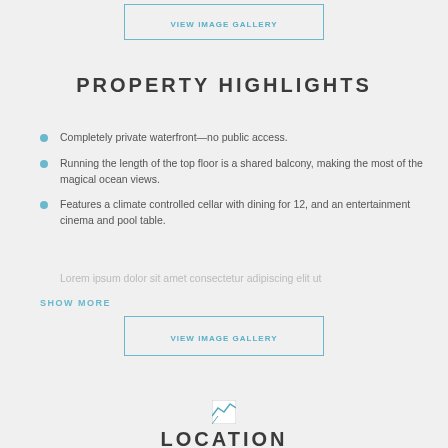VIEW IMAGE GALLERY
PROPERTY HIGHLIGHTS
Completely private waterfront—no public access.
Running the length of the top floor is a shared balcony, making the most of the magical ocean views.
Features a climate controlled cellar with dining for 12, and an entertainment cinema and pool table.
SHOW MORE
VIEW IMAGE GALLERY
[Figure (illustration): Small broken image icon placeholder for a map]
LOCATION